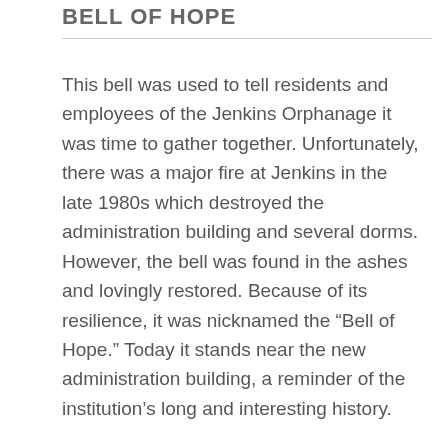BELL OF HOPE
This bell was used to tell residents and employees of the Jenkins Orphanage it was time to gather together. Unfortunately, there was a major fire at Jenkins in the late 1980s which destroyed the administration building and several dorms. However, the bell was found in the ashes and lovingly restored. Because of its resilience, it was nicknamed the “Bell of Hope.” Today it stands near the new administration building, a reminder of the institution’s long and interesting history.